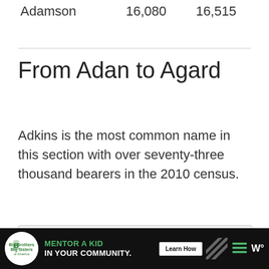| Adamson | 16,080 | 16,515 |
From Adan to Agard
Adkins is the most common name in this section with over seventy-three thousand bearers in the 2010 census.
[Figure (other): Advertisement banner: Big Brothers Big Sisters — MENTOR A KID IN YOUR COMMUNITY. with Learn How button]